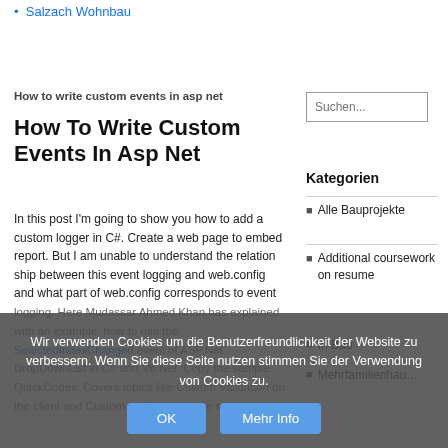Salzach Wohnbau
How to write custom events in asp net
How To Write Custom Events In Asp Net
Suchen...
Kategorien
Alle Bauprojekte
Additional coursework on resume
In this post I'm going to show you how to add a custom logger in C#. Create a web page to embed report. But I am unable to understand the relation ship between this event logging and web.config and what part of web.config corresponds to event logging. Here Mudassar Ahmed Khan has explained with an example, how to use the SelectedIndexChanged event of ASP.Net DropDownList in C# and Vb.Net. Copy the sample QuickCodes. Covers topics like Custom Validation on the client and Custom validation on the server How To Write Custom Events In Asp Net
In Bau
Mehrfamilienhau…
Wir verwenden Cookies um die Benutzerfreundlichkeit der Website zu verbessern. Wenn Sie diese Seite nutzen stimmen Sie der Verwendung von Cookies zu.
OK  Mehr Info